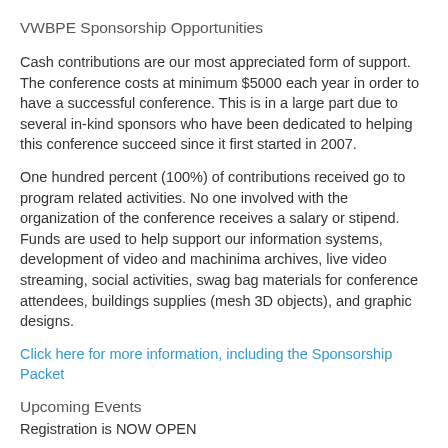VWBPE Sponsorship Opportunities
Cash contributions are our most appreciated form of support. The conference costs at minimum $5000 each year in order to have a successful conference. This is in a large part due to several in-kind sponsors who have been dedicated to helping this conference succeed since it first started in 2007.
One hundred percent (100%) of contributions received go to program related activities. No one involved with the organization of the conference receives a salary or stipend. Funds are used to help support our information systems, development of video and machinima archives, live video streaming, social activities, swag bag materials for conference attendees, buildings supplies (mesh 3D objects), and graphic designs.
Click here for more information, including the Sponsorship Packet
Upcoming Events
Registration is NOW OPEN